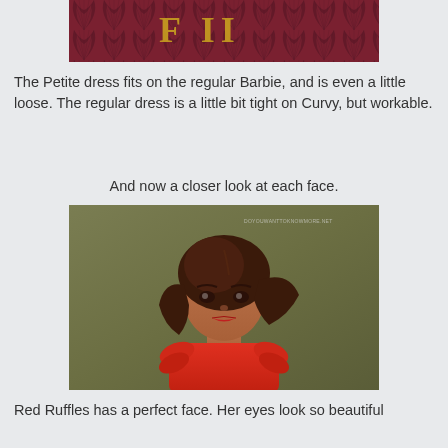[Figure (photo): Top portion of a decorative photo showing a burgundy/dark red fan pattern background with gold letters visible at top]
The Petite dress fits on the regular Barbie, and is even a little loose.  The regular dress is a little bit tight on Curvy, but workable.
And now a closer look at each face.
[Figure (photo): Close-up photo of a Barbie doll with dark brown hair, wearing a red ruffled dress, against an olive/khaki green background. The doll has a tan complexion and is labeled Red Ruffles.]
Red Ruffles has a perfect face.  Her eyes look so beautiful